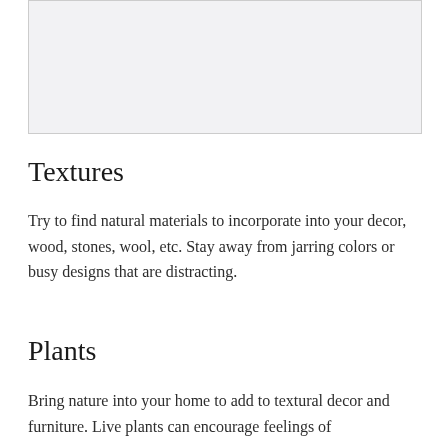[Figure (photo): Image placeholder area, light gray background]
Textures
Try to find natural materials to incorporate into your decor, wood, stones, wool, etc. Stay away from jarring colors or busy designs that are distracting.
Plants
Bring nature into your home to add to textural decor and furniture. Live plants can encourage feelings of